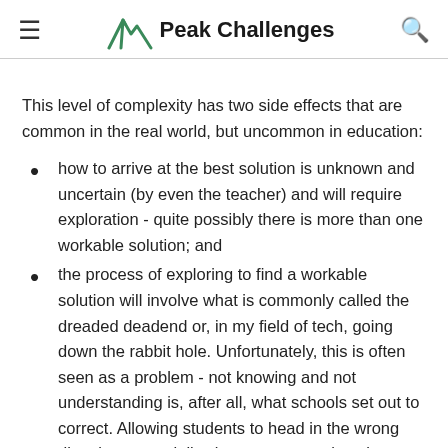Peak Challenges
This level of complexity has two side effects that are common in the real world, but uncommon in education:
how to arrive at the best solution is unknown and uncertain (by even the teacher) and will require exploration - quite possibly there is more than one workable solution; and
the process of exploring to find a workable solution will involve what is commonly called the dreaded deadend or, in my field of tech, going down the rabbit hole. Unfortunately, this is often seen as a problem - not knowing and not understanding is, after all, what schools set out to correct. Allowing students to head in the wrong direction, especially since many people value efficiency (for example